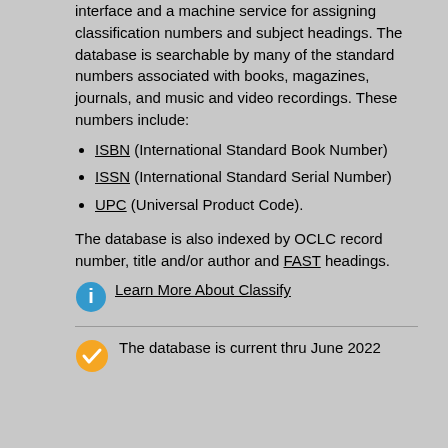interface and a machine service for assigning classification numbers and subject headings. The database is searchable by many of the standard numbers associated with books, magazines, journals, and music and video recordings. These numbers include:
ISBN (International Standard Book Number)
ISSN (International Standard Serial Number)
UPC (Universal Product Code).
The database is also indexed by OCLC record number, title and/or author and FAST headings.
[Figure (infographic): Blue circular info icon with white 'i' symbol]
Learn More About Classify
[Figure (infographic): Orange circular checkmark icon]
The database is current thru June 2022